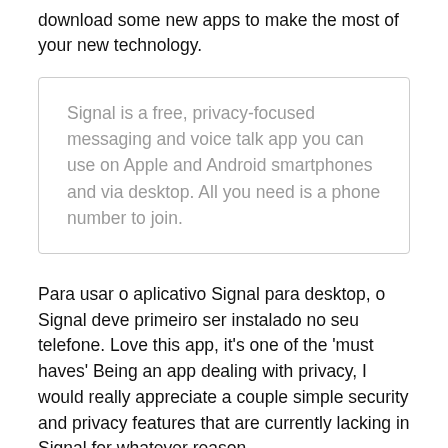download some new apps to make the most of your new technology.
Signal is a free, privacy-focused messaging and voice talk app you can use on Apple and Android smartphones and via desktop. All you need is a phone number to join.
Para usar o aplicativo Signal para desktop, o Signal deve primeiro ser instalado no seu telefone. Love this app, it's one of the 'must haves' Being an app dealing with privacy, I would really appreciate a couple simple security and privacy features that are currently lacking in Signal for whatever reason..